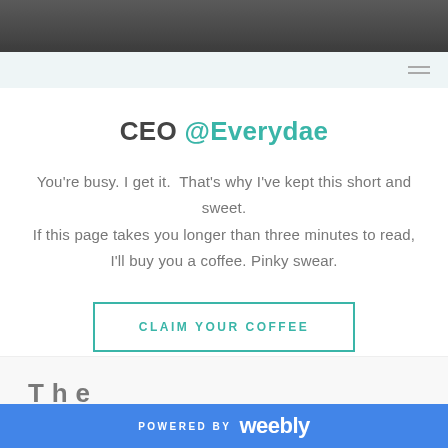[Figure (screenshot): Dark photo strip at the top of the page, partial website header image]
Navigation bar with menu icon
CEO @Everydae
You're busy. I get it. That's why I've kept this short and sweet.
If this page takes you longer than three minutes to read,
I'll buy you a coffee. Pinky swear.
CLAIM YOUR COFFEE
POWERED BY weebly